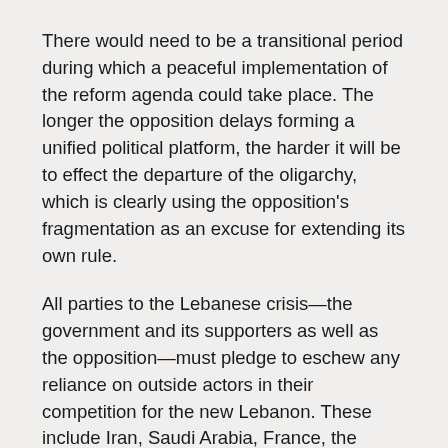There would need to be a transitional period during which a peaceful implementation of the reform agenda could take place. The longer the opposition delays forming a unified political platform, the harder it will be to effect the departure of the oligarchy, which is clearly using the opposition's fragmentation as an excuse for extending its own rule.
All parties to the Lebanese crisis—the government and its supporters as well as the opposition—must pledge to eschew any reliance on outside actors in their competition for the new Lebanon. These include Iran, Saudi Arabia, France, the United States, and others. In addition, Lebanon's political parties and personalities have had a propensity to seek assistance from co-religionists outside the border;